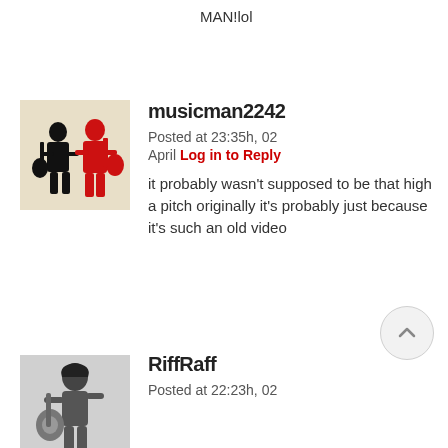MAN!lol
[Figure (photo): Avatar image for musicman2242: silhouette of two musicians playing guitar, one black and one red, on a light background]
musicman2242
Posted at 23:35h, 02 April Log in to Reply
it probably wasn't supposed to be that high a pitch originally it's probably just because it's such an old video
[Figure (photo): Avatar image for RiffRaff: black and white photo of a person playing guitar]
RiffRaff
Posted at 22:23h, 02